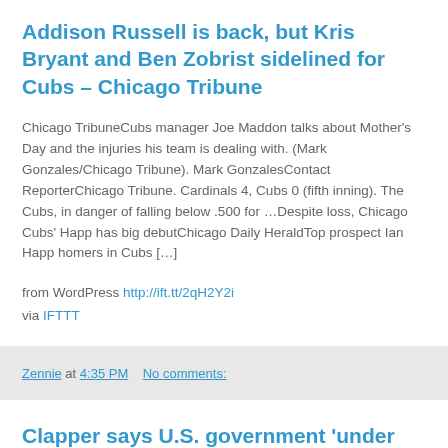Addison Russell is back, but Kris Bryant and Ben Zobrist sidelined for Cubs – Chicago Tribune
Chicago TribuneCubs manager Joe Maddon talks about Mother's Day and the injuries his team is dealing with. (Mark Gonzales/Chicago Tribune). Mark GonzalesContact ReporterChicago Tribune. Cardinals 4, Cubs 0 (fifth inning). The Cubs, in danger of falling below .500 for …Despite loss, Chicago Cubs' Happ has big debutChicago Daily HeraldTop prospect Ian Happ homers in Cubs […]
from WordPress http://ift.tt/2qH2Y2i
via IFTTT
Zennie at 4:35 PM    No comments:
Clapper says U.S. government 'under